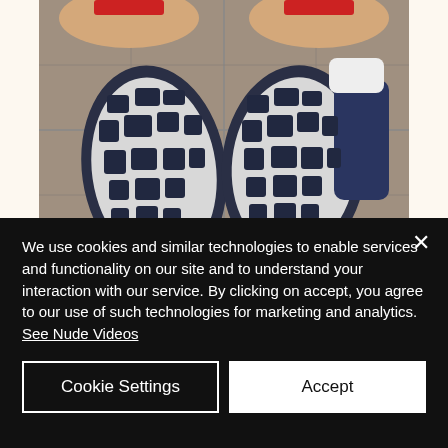[Figure (photo): Close-up photo of the soles of running shoes worn by a person sitting on a tiled floor. The shoes have dark navy and white patterned rubber soles. Watermark reads www.imJudas.com in the bottom-left corner.]
My ass right after completing a 6+
We use cookies and similar technologies to enable services and functionality on our site and to understand your interaction with our service. By clicking on accept, you agree to our use of such technologies for marketing and analytics. See Nude Videos
Cookie Settings
Accept